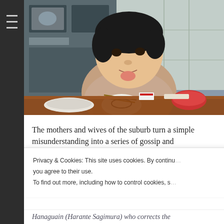[Figure (photo): A young Asian boy sitting at a dining table, holding a bowl and sticking out his tongue playfully. He is wearing a pinkish-beige turtleneck sweater. The table has various dishes and red bowls. Japanese shoji screens are visible in the background.]
The mothers and wives of the suburb turn a simple misunderstanding into a series of gossip and
Privacy & Cookies: This site uses cookies. By continu you agree to their use. To find out more, including how to control cookies, s
Close and accept
Hanaguain (Harante Sagimura) who corrects the